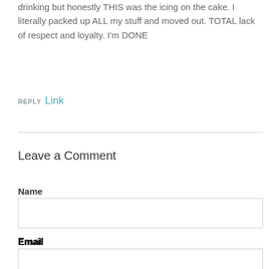drinking but honestly THIS was the icing on the cake. I literally packed up ALL my stuff and moved out. TOTAL lack of respect and loyalty. I'm DONE
REPLY Link
Leave a Comment
Name
Email
Website